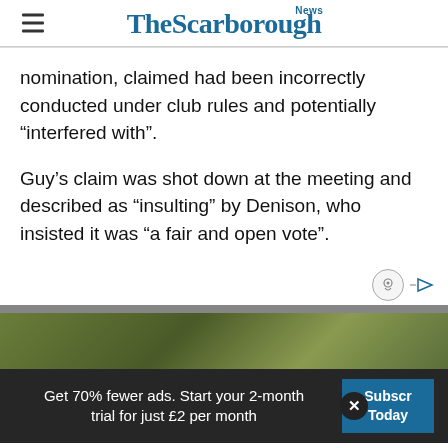The Scarborough News
nomination, claimed had been incorrectly conducted under club rules and potentially “interfered with”.
Guy’s claim was shot down at the meeting and described as “insulting” by Denison, who insisted it was “a fair and open vote”.
[Figure (photo): Outdoor photo with foliage background, partially visible]
Get 70% fewer ads. Start your 2-month trial for just £2 per month